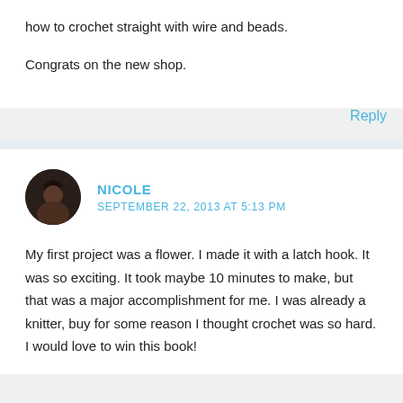how to crochet straight with wire and beads.
Congrats on the new shop.
Reply
NICOLE
SEPTEMBER 22, 2013 AT 5:13 PM
My first project was a flower. I made it with a latch hook. It was so exciting. It took maybe 10 minutes to make, but that was a major accomplishment for me. I was already a knitter, buy for some reason I thought crochet was so hard. I would love to win this book!